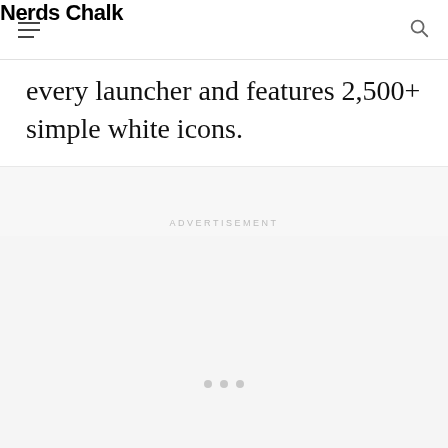Nerds Chalk
every launcher and features 2,500+ simple white icons.
ADVERTISEMENT